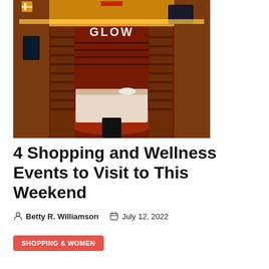[Figure (photo): Interior of a GLOW infrared sauna cabin with warm orange-red lighting, wooden slat walls, a padded bench/table in the center, and a TV or monitor in the upper right. The GLOW logo is visible in neon-style letters on the back wall.]
4 Shopping and Wellness Events to Visit to This Weekend
Betty R. Williamson   July 12, 2022
SHOPPING & WOMEN